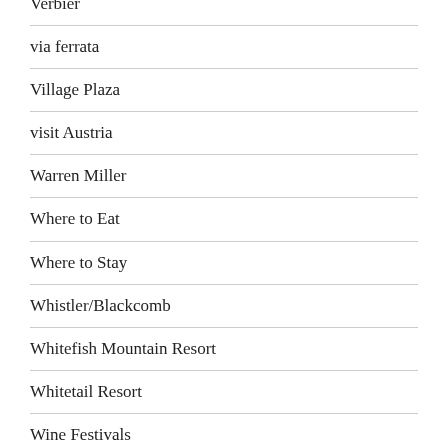Verbier
via ferrata
Village Plaza
visit Austria
Warren Miller
Where to Eat
Where to Stay
Whistler/Blackcomb
Whitefish Mountain Resort
Whitetail Resort
Wine Festivals
Winter Olympics